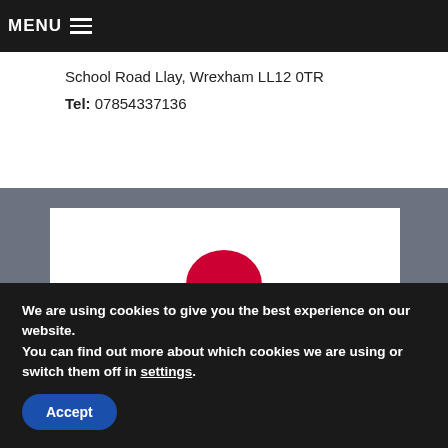MENU
School Road Llay, Wrexham LL12 0TR
Tel: 07854337136
[Figure (logo): Red speech bubble icon on white background, centered in a white card on a gray background section]
We are using cookies to give you the best experience on our website.
You can find out more about which cookies we are using or switch them off in settings.
Accept